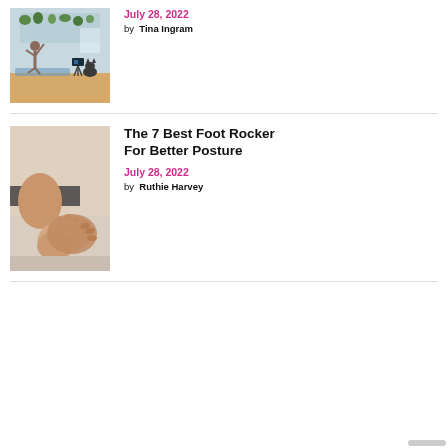[Figure (photo): Person doing yoga in a room with a camera on a tripod and a cat, filming an online workout session]
July 28, 2022
by  Tina Ingram
[Figure (photo): Close-up of hands holding a bare foot/ankle, suggesting foot care or massage]
The 7 Best Foot Rocker For Better Posture
July 28, 2022
by  Ruthie Harvey